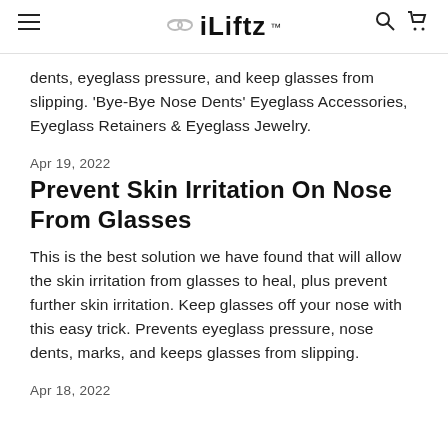iLiftz™
dents, eyeglass pressure, and keep glasses from slipping. 'Bye-Bye Nose Dents' Eyeglass Accessories, Eyeglass Retainers & Eyeglass Jewelry.
Apr 19, 2022
Prevent Skin Irritation On Nose From Glasses
This is the best solution we have found that will allow the skin irritation from glasses to heal, plus prevent further skin irritation. Keep glasses off your nose with this easy trick. Prevents eyeglass pressure, nose dents, marks, and keeps glasses from slipping.
Apr 18, 2022